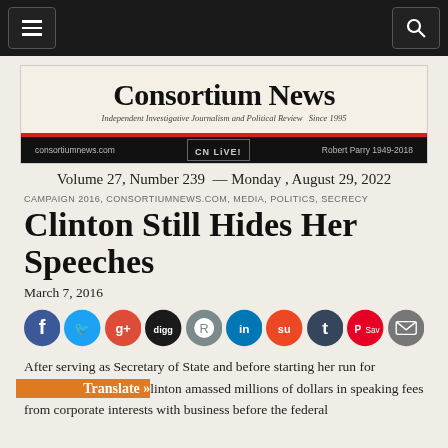Navigation header with menu and search buttons
[Figure (logo): Consortium News masthead logo with title, subtitle 'Independent Investigative Journalism and Political Review Since 1995', consortiumnews.com, CN LIVE, Robert Parry 1949-2019]
Volume 27, Number 239 — Monday, August 29, 2022
CAMPAIGN 2016, CONSORTIUMNEWS.COM, MEDIA, POLITICS, SECRECY
Clinton Still Hides Her Speeches
March 7, 2016
[Figure (infographic): Social media sharing icons: Facebook, Twitter, Google+, Digg, Reddit, LinkedIn, StumbleUpon, Tumblr, Pinterest Save, Email]
After serving as Secretary of State and before starting her run for President, Hillary Clinton amassed millions of dollars in speaking fees from corporate interests with business before the federal